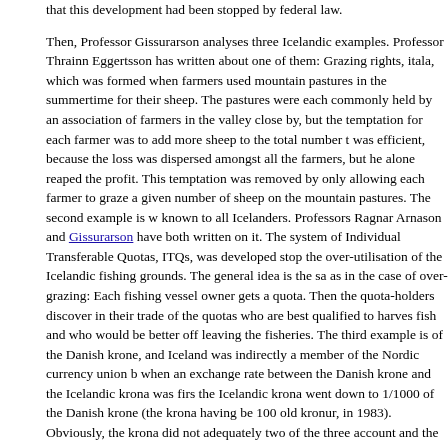that this development had been stopped by federal law.

Then, Professor Gissurarson analyses three Icelandic examples. Professor Thrainn Eggertsson has written about one of them: Grazing rights, itala, which was formed when farmers used mountain pastures in the summertime for their sheep. The pastures were each commonly held by an association of farmers in the valley close by, but the temptation for each farmer was to add more sheep to the total number t was efficient, because the loss was dispersed amongst all the farmers, but he alone reaped the profit. This temptation was removed by only allowing each farmer to graze a given number of sheep on the mountain pastures. The second example is w known to all Icelanders. Professors Ragnar Arnason and Gissurarson have both written on it. The system of Individual Transferable Quotas, ITQs, was developed stop the over-utilisation of the Icelandic fishing grounds. The general idea is the sa as in the case of over-grazing: Each fishing vessel owner gets a quota. Then the quota-holders discover in their trade of the quotas who are best qualified to harves fish and who would be better off leaving the fisheries. The third example is of the Danish krone, and Iceland was indirectly a member of the Nordic currency union b when an exchange rate between the Danish krone and the Icelandic krona was firs the Icelandic krona went down to 1/1000 of the Danish krone (the krona having be 100 old kronur, in 1983). Obviously, the krona did not adequately two of the three account and the store of value. Therefore, Professor Gissurarson had already in the krona would be replaced by a harder currency, such as the US dollar. However, the problem by introducing the indexed krona, which was a hard currency, unlike the o soft currency and which could still fulfil its role of being a medium of exchange. T